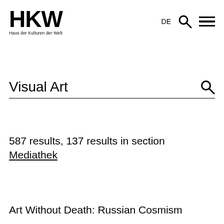HKW Haus der Kulturen der Welt — DE [search] [menu]
Visual Art [search icon]
587 results, 137 results in section Mediathek
Art Without Death: Russian Cosmism